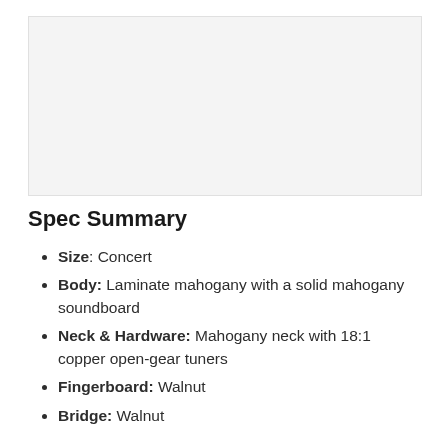[Figure (photo): Product photo placeholder area (light gray rectangle)]
Spec Summary
Size: Concert
Body: Laminate mahogany with a solid mahogany soundboard
Neck & Hardware: Mahogany neck with 18:1 copper open-gear tuners
Fingerboard: Walnut
Bridge: Walnut